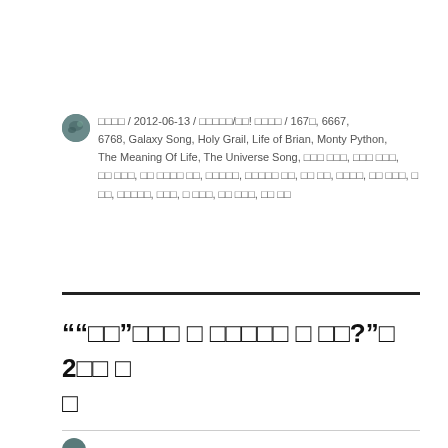□□□□ / 2012-06-13 / □□□□□/□□! □□□□ / 167□, 6667, 6768, Galaxy Song, Holy Grail, Life of Brian, Monty Python, The Meaning Of Life, The Universe Song, □□□ □□□, □□□ □□□, □□ □□□, □□ □□□□ □□, □□□□□, □□□□□ □□, □□ □□, □□□□, □□ □□□, □ □□, □□□□□, □□□, □ □□□, □□ □□□, □□ □□
""□□"□□□ □ □□□□□ □ □□?"□ 2□□ □□